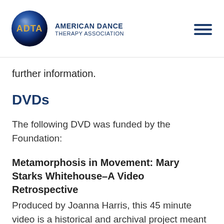[Figure (logo): ADTA circular logo with circular gradient blue sphere and ADTA text, alongside American Dance Therapy Association text]
further information.
DVDs
The following DVD was funded by the Foundation:
Metamorphosis in Movement: Mary Starks Whitehouse–A Video Retrospective
Produced by Joanna Harris, this 45 minute video is a historical and archival project meant to preserve Whitehouse's significance to